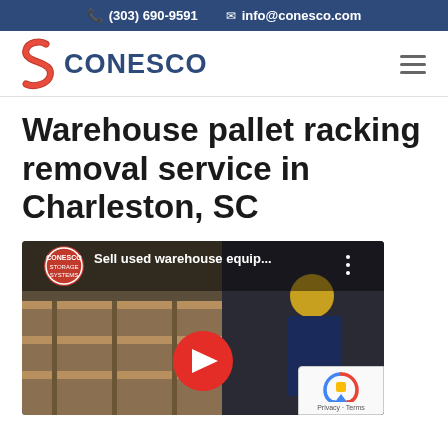(303) 690-9591   info@conesco.com
[Figure (logo): Conesco Storage Systems logo with red S-shaped swoosh and dark blue CONESCO text]
Warehouse pallet racking removal service in Charleston, SC
[Figure (screenshot): YouTube video thumbnail showing a woman in a yellow hard hat in a warehouse, with Conesco logo and title 'Sell used warehouse equip...' and red play button]